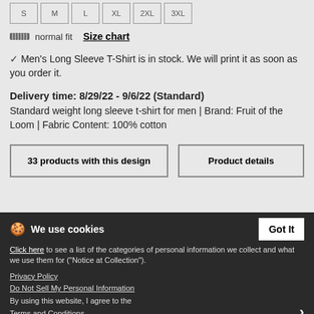normal fit   Size chart
✓ Men's Long Sleeve T-Shirt is in stock. We will print it as soon as you order it.
Delivery time: 8/29/22 - 9/6/22 (Standard)
Standard weight long sleeve t-shirt for men | Brand: Fruit of the Loom | Fabric Content: 100% cotton
33 products with this design
Product details
More products
We use cookies
Click here to see a list of the categories of personal information we collect and what we use them for ("Notice at Collection").
Privacy Policy
Do Not Sell My Personal Information
By using this website, I agree to the Terms and Conditions